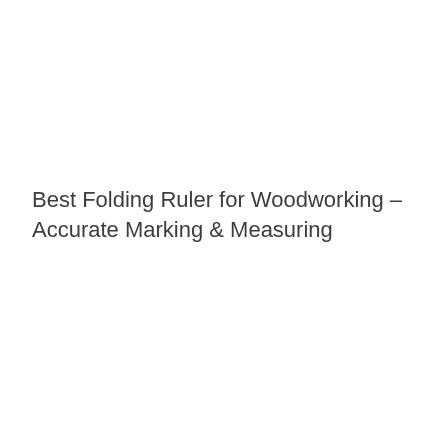Best Folding Ruler for Woodworking – Accurate Marking & Measuring